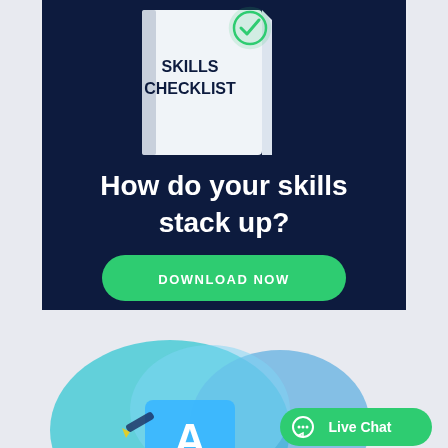[Figure (illustration): Dark navy banner with a white book showing SKILLS CHECKLIST and a green checkmark, headline text, and a green download button]
How do your skills stack up?
DOWNLOAD NOW
[Figure (illustration): Light blue/teal decorative shapes with letter A and a pencil icon at the bottom, with a Live Chat button overlay]